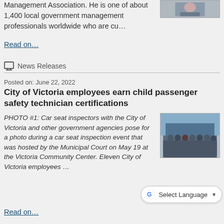Management Association. He is one of about 1,400 local government management professionals worldwide who are cu…
[Figure (photo): Small portrait photo of a person]
Read on…
News Releases
Posted on: June 22, 2022
City of Victoria employees earn child passenger safety technician certifications
PHOTO #1: Car seat inspectors with the City of Victoria and other government agencies pose for a photo during a car seat inspection event that was hosted by the Municipal Court on May 19 at the Victoria Community Center. Eleven City of Victoria employees …
[Figure (photo): Group photo of car seat inspectors with the City of Victoria and other government agencies at a car seat inspection event]
Read on…